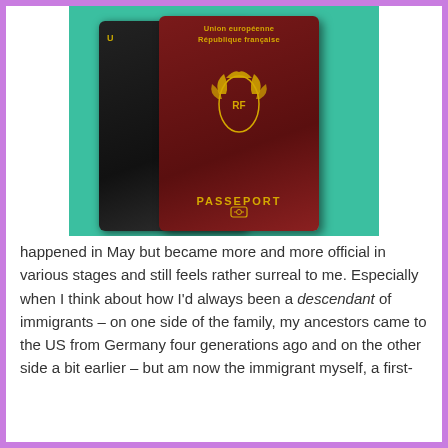[Figure (photo): Two passports on a teal/green surface: a dark red French passport (Union Européenne, République française) in front showing the emblem and PASSEPORT text, and a black passport partially visible behind it to the left.]
happened in May but became more and more official in various stages and still feels rather surreal to me. Especially when I think about how I'd always been a descendant of immigrants – on one side of the family, my ancestors came to the US from Germany four generations ago and on the other side a bit earlier – but am now the immigrant myself, a first-